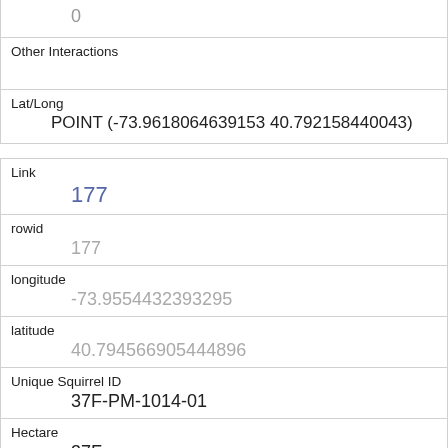0
Other Interactions
Lat/Long
POINT (-73.9618064639153 40.792158440043)
Link
177
rowid
177
longitude
-73.9554432393295
latitude
40.794566905444896
Unique Squirrel ID
37F-PM-1014-01
Hectare
37F
Shift
PM